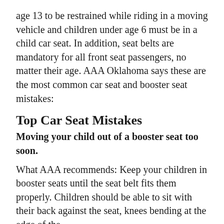age 13 to be restrained while riding in a moving vehicle and children under age 6 must be in a child car seat. In addition, seat belts are mandatory for all front seat passengers, no matter their age. AAA Oklahoma says these are the most common car seat and booster seat mistakes:
Top Car Seat Mistakes
Moving your child out of a booster seat too soon.
What AAA recommends: Keep your children in booster seats until the seat belt fits them properly. Children should be able to sit with their back against the seat, knees bending at the edge of the